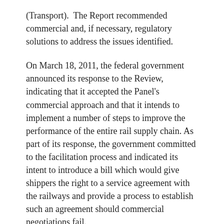(Transport).  The Report recommended commercial and, if necessary, regulatory solutions to address the issues identified.
On March 18, 2011, the federal government announced its response to the Review, indicating that it accepted the Panel's commercial approach and that it intends to implement a number of steps to improve the performance of the entire rail supply chain. As part of its response, the government committed to the facilitation process and indicated its intent to introduce a bill which would give shippers the right to a service agreement with the railways and provide a process to establish such an agreement should commercial negotiations fail.
On October 31, 2011, the government announced the appointment of Jim Dinning as the independent facilitator leading a 6-month facilitation process to develop a template service agreement and a